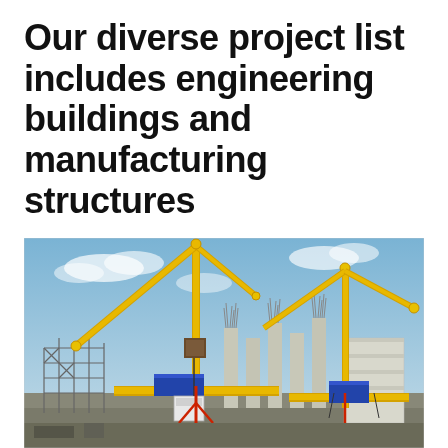Our diverse project list includes engineering buildings and manufacturing structures
[Figure (photo): Construction site photograph showing two large yellow tower cranes against a blue sky, with concrete columns, steel framework, and a building under construction in the background.]